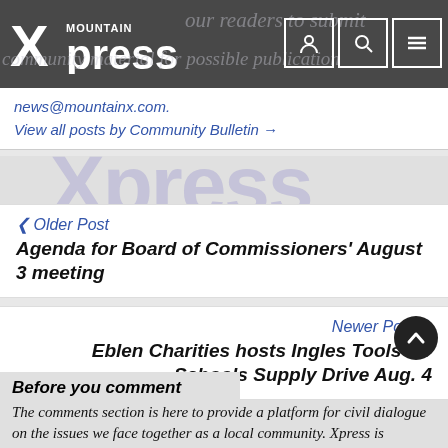Mountain Xpress
news@mountainx.com.
View all posts by Community Bulletin →
< Older Post
Agenda for Board of Commissioners' August 3 meeting
Newer Post >
Eblen Charities hosts Ingles Tools for Schools Supply Drive Aug. 4
Before you comment
The comments section is here to provide a platform for civil dialogue on the issues we face together as a local community. Xpress is committed to offering this platform for all voices, but when the tone of the discussion gets nasty or strays off topic, we believe many people choose not to participate. Xpress editors are determined to moderate comments to ensure a construc ti...